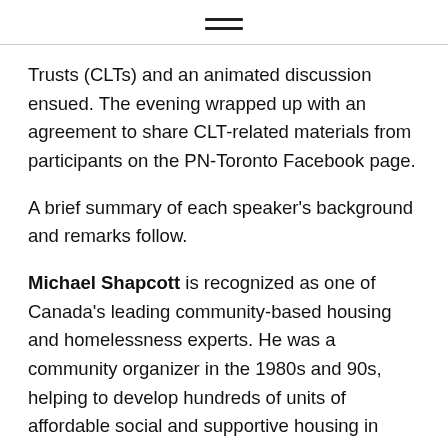≡
Trusts (CLTs) and an animated discussion ensued. The evening wrapped up with an agreement to share CLT-related materials from participants on the PN-Toronto Facebook page.
A brief summary of each speaker's background and remarks follow.
Michael Shapcott is recognized as one of Canada's leading community-based housing and homelessness experts. He was a community organizer in the 1980s and 90s, helping to develop hundreds of units of affordable social and supportive housing in Toronto. He is currently on secondment from the Wellesley